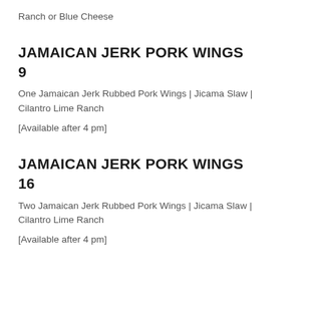Ranch or Blue Cheese
JAMAICAN JERK PORK WINGS
9
One Jamaican Jerk Rubbed Pork Wings | Jicama Slaw | Cilantro Lime Ranch
[Available after 4 pm]
JAMAICAN JERK PORK WINGS
16
Two Jamaican Jerk Rubbed Pork Wings | Jicama Slaw | Cilantro Lime Ranch
[Available after 4 pm]